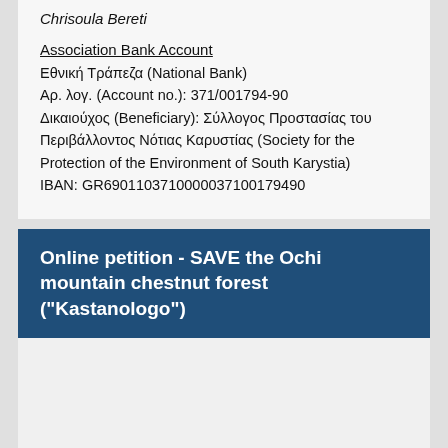Chrisoula Bereti
Association Bank Account
Εθνική Τράπεζα (National Bank)
Αρ. λογ. (Account no.): 371/001794-90
Δικαιούχος (Beneficiary): Σύλλογος Προστασίας του Περιβάλλοντος Νότιας Καρυστίας (Society for the Protection of the Environment of South Karystia)
IBAN: GR6901103710000037100179490
Online petition - SAVE the Ochi mountain chestnut forest ("Kastanologo")